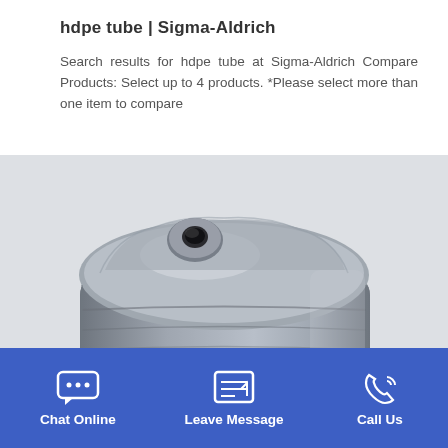hdpe tube | Sigma-Aldrich
Search results for hdpe tube at Sigma-Aldrich Compare Products: Select up to 4 products. *Please select more than one item to compare
[Figure (photo): A metallic machined cylindrical component photographed from a close angle, showing a brushed steel or aluminum finish with a central small bore hole on top and a hollow interior visible from below.]
Chat Online   Leave Message   Call Us